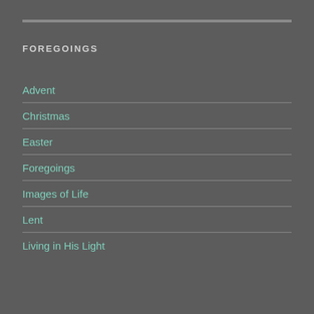FOREGOINGS
Advent
Christmas
Easter
Foregoings
Images of Life
Lent
Living in His Light